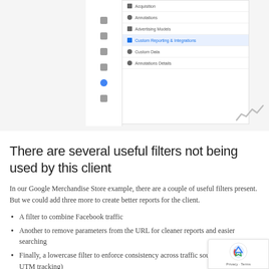[Figure (screenshot): Google Analytics interface screenshot showing a left sidebar with navigation icons and a dropdown menu panel listing items including Acquisition, Audience, Advertising Models, Custom Reporting & Integrations, Custom Data, and Annotations. A small bar chart icon is visible in the bottom-right corner.]
There are several useful filters not being used by this client
In our Google Merchandise Store example, there are a couple of useful filters present. But we could add three more to create better reports for the client.
A filter to combine Facebook traffic
Another to remove parameters from the URL for cleaner reports and easier searching
Finally, a lowercase filter to enforce consistency across traffic sources (great for UTM tracking)
#3 – What Google Analytics Goals Have Been Defined?